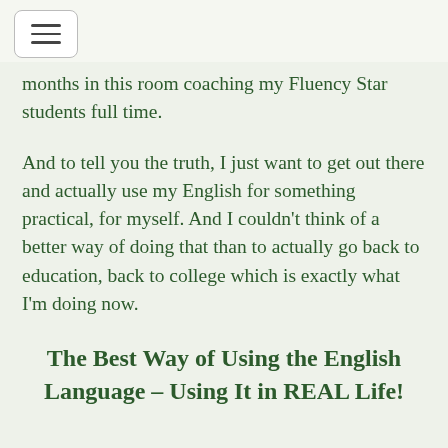months in this room coaching my Fluency Star students full time.
And to tell you the truth, I just want to get out there and actually use my English for something practical, for myself. And I couldn’t think of a better way of doing that than to actually go back to education, back to college which is exactly what I’m doing now.
The Best Way of Using the English Language – Using It in REAL Life!